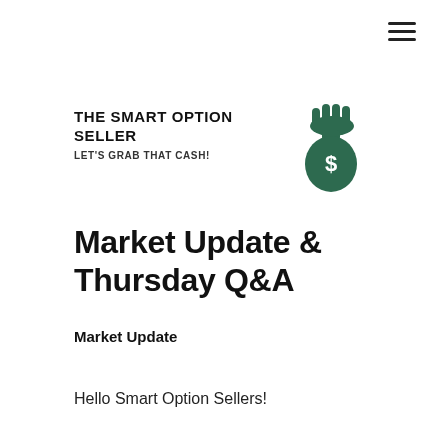[Figure (illustration): Hamburger menu icon (three horizontal lines) in top right corner]
THE SMART OPTION SELLER
LET'S GRAB THAT CASH!
[Figure (illustration): Hand holding a money bag with dollar sign, illustrated in dark green]
Market Update & Thursday Q&A
Market Update
Hello Smart Option Sellers!